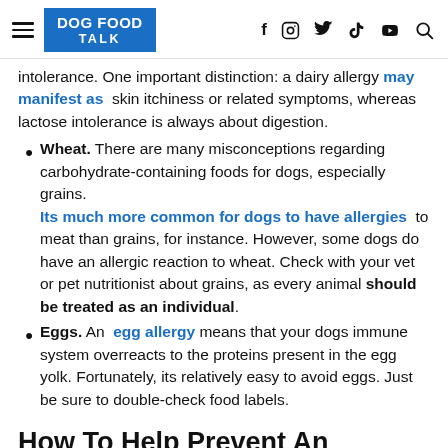DOG FOOD TALK [hamburger menu, social icons: f, instagram, twitter, youtube, search]
intolerance. One important distinction: a dairy allergy may manifest as skin itchiness or related symptoms, whereas lactose intolerance is always about digestion.
Wheat. There are many misconceptions regarding carbohydrate-containing foods for dogs, especially grains. Its much more common for dogs to have allergies to meat than grains, for instance. However, some dogs do have an allergic reaction to wheat. Check with your vet or pet nutritionist about grains, as every animal should be treated as an individual.
Eggs. An egg allergy means that your dogs immune system overreacts to the proteins present in the egg yolk. Fortunately, its relatively easy to avoid eggs. Just be sure to double-check food labels.
How To Help Prevent An Allergic Reaction